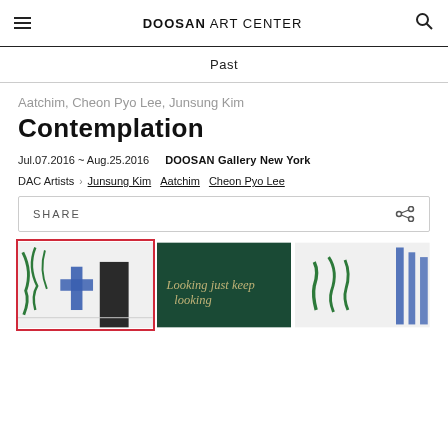DOOSAN ART CENTER
Past
Aatchim, Cheon Pyo Lee, Junsung Kim
Contemplation
Jul.07.2016 ~ Aug.25.2016   DOOSAN Gallery New York
DAC Artists > Junsung Kim  Aatchim  Cheon Pyo Lee
SHARE
[Figure (photo): Gallery installation photo showing blue sculptural cross shape and green painted figures on white walls, with dark curtained doorway]
[Figure (photo): Dark green background with script text reading 'Looking just keep looking']
[Figure (photo): White gallery wall with green figurative sculptures and blue vertical elements on right side]